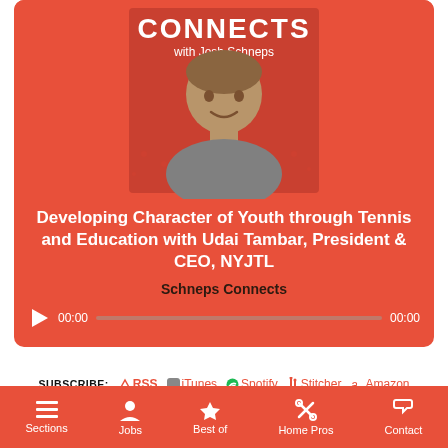[Figure (photo): Podcast artwork showing 'CONNECTS with Josh Schneps' text and a man in a gray t-shirt smiling on a red background]
Developing Character of Youth through Tennis and Education with Udai Tambar, President & CEO, NYJTL
Schneps Connects
[Figure (other): Audio player with play button, time display 00:00, progress bar, and end time 00:00]
SUBSCRIBE: RSS iTunes Spotify Stitcher Amazon Google Play
The grocery store held its soft opening on May 25. At the grand opening, the first 100 customers received a gift bag
Sections  Jobs  Best of  Home Pros  Contact